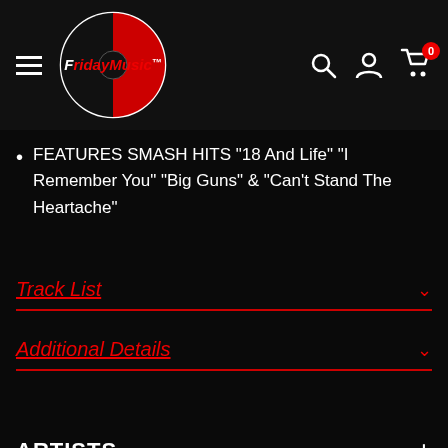[Figure (logo): FridayMusic logo: circle with half black half red record disc and white FridayMusic text with trademark symbol]
FEATURES SMASH HITS "18 And Life" "I Remember You" "Big Guns" & "Can't Stand The Heartache"
Track List
Additional Details
ARTISTS
QUESTIONS OR CONCERNS